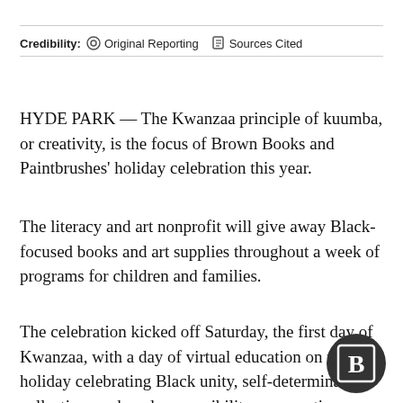Credibility: Original Reporting  Sources Cited
HYDE PARK — The Kwanzaa principle of kuumba, or creativity, is the focus of Brown Books and Paintbrushes' holiday celebration this year.
The literacy and art nonprofit will give away Black-focused books and art supplies throughout a week of programs for children and families.
The celebration kicked off Saturday, the first day of Kwanzaa, with a day of virtual education on the holiday celebrating Black unity, self-determination, collective work and responsibility, cooperative economics, purpose, creativity and